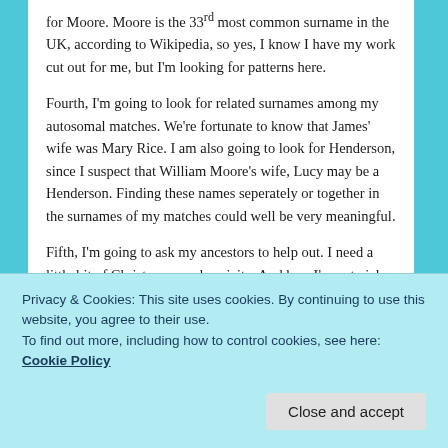for Moore. Moore is the 33rd most common surname in the UK, according to Wikipedia, so yes, I know I have my work cut out for me, but I'm looking for patterns here.
Fourth, I'm going to look for related surnames among my autosomal matches. We're fortunate to know that James' wife was Mary Rice. I am also going to look for Henderson, since I suspect that William Moore's wife, Lucy may be a Henderson. Finding these names seperately or together in the surnames of my matches could well be very meaningful.
Fifth, I'm going to ask my ancestors to help out. I need a little bit of Christmas synchronicity. And hey, I'm not picky,
Privacy & Cookies: This site uses cookies. By continuing to use this website, you agree to their use.
To find out more, including how to control cookies, see here: Cookie Policy